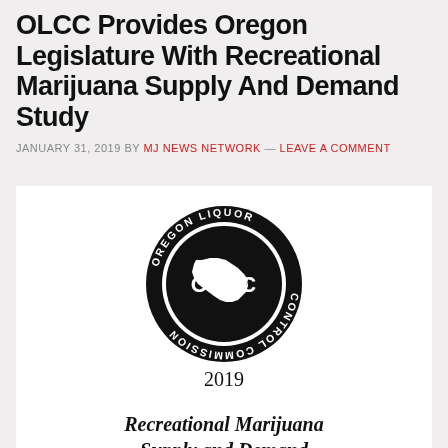OLCC Provides Oregon Legislature With Recreational Marijuana Supply And Demand Study
JANUARY 31, 2019 BY MJ NEWS NETWORK — LEAVE A COMMENT
[Figure (logo): Oregon Liquor Control Commission (OLCC) circular logo — black circle with white text 'OREGON LIQUOR CONTROL COMMISSION' around the border and 'OLCC' in large letters over a white silhouette of Oregon state]
2019 Recreational Marijuana Supply and Demand Legislative Report